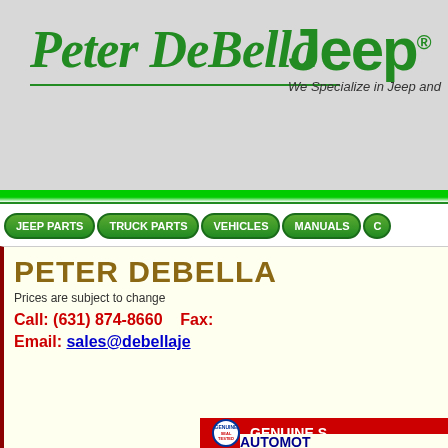Peter DeBella
Jeep®
We Specialize in Jeep and
[Figure (screenshot): Navigation bar with buttons: JEEP PARTS, TRUCK PARTS, VEHICLES, MANUALS]
PETER DEBELLA
Prices are subject to change
Call: (631) 874-8660    Fax:
Email: sales@debellaje
M38 - M38A1 CA
M38 - M38A1  GROUP 8
[Figure (logo): Genuine Seal Tested Automotive badge/logo in red and white with circular seal emblem]